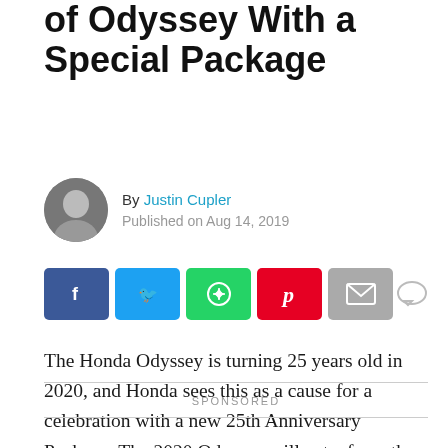of Odyssey With a Special Package
By Justin Cupler
Published on Aug 14, 2019
[Figure (other): Social share buttons row: Facebook (blue), Twitter (cyan), WhatsApp (green), Pinterest (red), Email (grey), and a comment icon]
The Honda Odyssey is turning 25 years old in 2020, and Honda sees this as a cause for a celebration with a new 25th Anniversary Package. The 2020 Odyssey will get a few other tweaks to its powertrain and color options, but it remains mostly the same.
SPONSORED